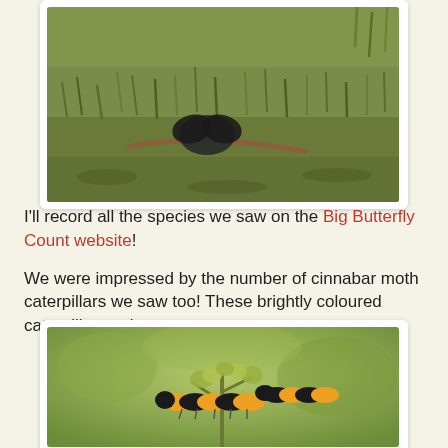[Figure (photo): A dark butterfly resting on grassy ground with a brown twig visible]
I'll record all the species we saw on the Big Butterfly Count website!
We were impressed by the number of cinnabar moth caterpillars we saw too! These brightly coloured caterpillars only eat ragwort.
[Figure (photo): Cinnabar moth caterpillars with yellow and black stripes on a plant with buds]